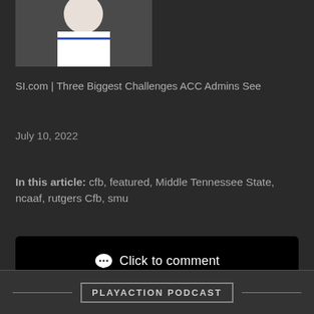[Figure (photo): Partial photo of a person or mascot, top portion cropped]
SI.com | Three Biggest Challenges ACC Admins See
July 10, 2022
In this article: cfb, featured, Middle Tennessee State, ncaaf, rutgers Cfb, smu
Click to comment
PLAYACTION PODCAST